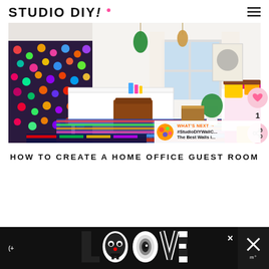STUDIO DIY!
[Figure (photo): Colorful home office guest room with a white desk, brown leather chair, vibrant multicolored rug, colorful wallpaper accent wall, plants, and a bed with pink and yellow bedding on the right side]
HOW TO CREATE A HOME OFFICE GUEST ROOM
[Figure (photo): Advertisement bar at bottom showing LOOVE graphic text/logo on dark background]